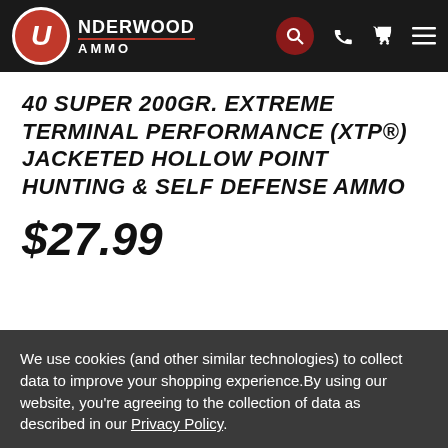[Figure (logo): Underwood Ammo logo — red circle with white U, text UNDERWOOD AMMO in white on black navbar, with search, phone, cart, and menu icons]
40 SUPER 200GR. EXTREME TERMINAL PERFORMANCE (XTP®) JACKETED HOLLOW POINT HUNTING & SELF DEFENSE AMMO
$27.99
We use cookies (and other similar technologies) to collect data to improve your shopping experience.By using our website, you're agreeing to the collection of data as described in our Privacy Policy.
Settings | Reject all | Accept All Cookies